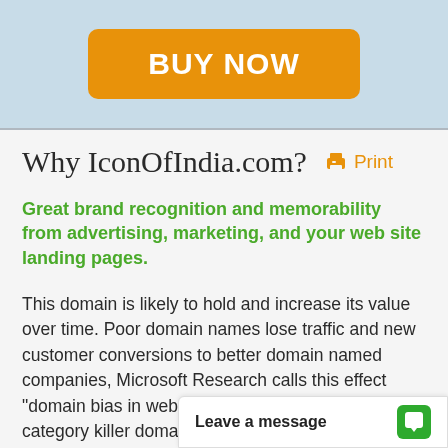[Figure (other): Orange 'BUY NOW' button centered on a light blue banner background]
Why IconOfIndia.com?  🖨 Print
Great brand recognition and memorability from advertising, marketing, and your web site landing pages.
This domain is likely to hold and increase its value over time. Poor domain names lose traffic and new customer conversions to better domain named companies, Microsoft Research calls this effect "domain bias in web search." IconOfIndia.com is a category killer domain that may be commonly used around the world. Su... a clear competitive a...
Leave a message